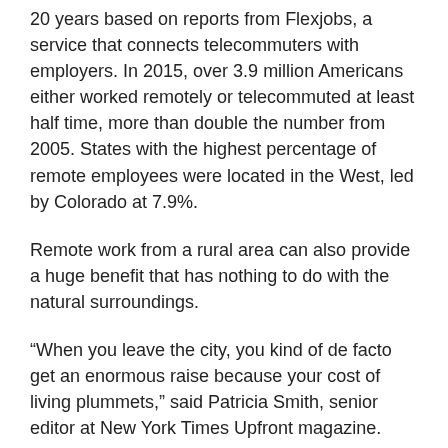20 years based on reports from Flexjobs, a service that connects telecommuters with employers. In 2015, over 3.9 million Americans either worked remotely or telecommuted at least half time, more than double the number from 2005. States with the highest percentage of remote employees were located in the West, led by Colorado at 7.9%.
Remote work from a rural area can also provide a huge benefit that has nothing to do with the natural surroundings.
“When you leave the city, you kind of de facto get an enormous raise because your cost of living plummets,” said Patricia Smith, senior editor at New York Times Upfront magazine.